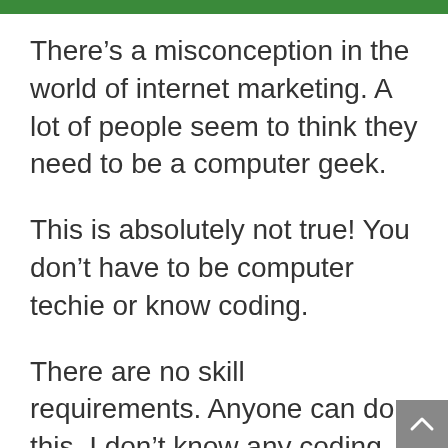There’s a misconception in the world of internet marketing. A lot of people seem to think they need to be a computer geek.
This is absolutely not true! You don’t have to be computer techie or know coding.
There are no skill requirements. Anyone can do this. I don’t know any coding and I’m definitely not a computer guru, look at what I have accomplished on my site.